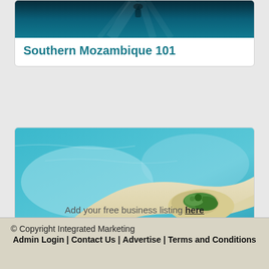[Figure (photo): Underwater scene with dark blue water and light rays, partially visible at top]
Southern Mozambique 101
[Figure (photo): Aerial view of a sandy island with turquoise water and a small green vegetation patch]
Tourism in Mozambique
Add your free business listing here
© Copyright Integrated Marketing Admin Login | Contact Us | Advertise | Terms and Conditions